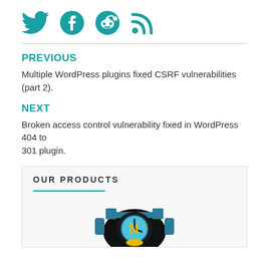[Figure (illustration): Four social media icons in teal: Twitter bird, Facebook f, Reddit alien, RSS feed symbol]
PREVIOUS
Multiple WordPress plugins fixed CSRF vulnerabilities (part 2).
NEXT
Broken access control vulnerability fixed in WordPress 404 to 301 plugin.
OUR PRODUCTS
[Figure (logo): Product logo: a penguin-like figure with a clock/hat wearing a graduation cap with teal and yellow colors on dark background]